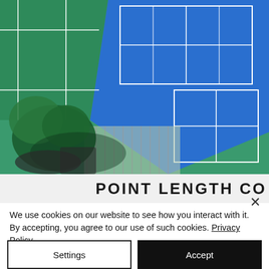[Figure (photo): Aerial view of tennis courts with green and blue surfaces, trees visible in lower left corner, with fencing between courts]
POINT LENGTH CO
We use cookies on our website to see how you interact with it. By accepting, you agree to our use of such cookies. Privacy Policy
Settings
Accept